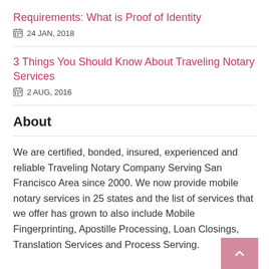Requirements: What is Proof of Identity
24 JAN, 2018
3 Things You Should Know About Traveling Notary Services
2 AUG, 2016
About
We are certified, bonded, insured, experienced and reliable Traveling Notary Company Serving San Francisco Area since 2000. We now provide mobile notary services in 25 states and the list of services that we offer has grown to also include Mobile Fingerprinting, Apostille Processing, Loan Closings, Translation Services and Process Serving.